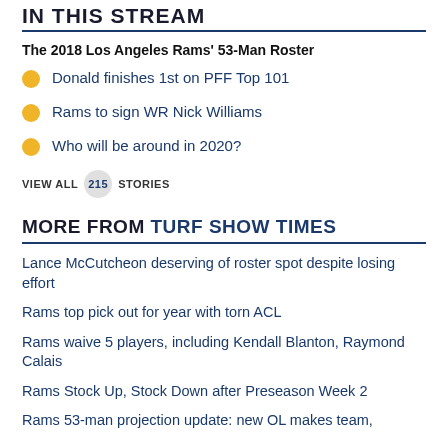IN THIS STREAM
The 2018 Los Angeles Rams' 53-Man Roster
Donald finishes 1st on PFF Top 101
Rams to sign WR Nick Williams
Who will be around in 2020?
VIEW ALL 215 STORIES
MORE FROM TURF SHOW TIMES
Lance McCutcheon deserving of roster spot despite losing effort
Rams top pick out for year with torn ACL
Rams waive 5 players, including Kendall Blanton, Raymond Calais
Rams Stock Up, Stock Down after Preseason Week 2
Rams 53-man projection update: new OL makes team,